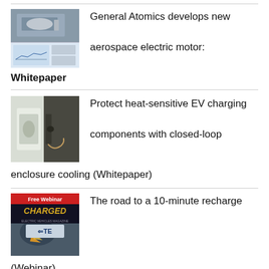[Figure (photo): General Atomics aerospace electric motor and control system display thumbnail]
General Atomics develops new aerospace electric motor: Whitepaper
[Figure (photo): Person plugging in an EV charging connector at a vehicle]
Protect heat-sensitive EV charging components with closed-loop enclosure cooling (Whitepaper)
[Figure (photo): Free Webinar promotional image with Charged magazine logo and TE Connectivity logo]
The road to a 10-minute recharge (Webinar)